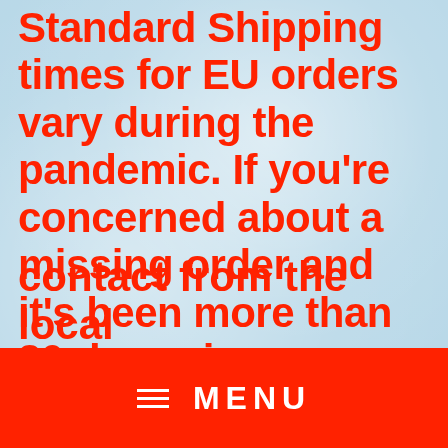Standard Shipping times for EU orders vary during the pandemic. If you're concerned about a missing order and it's been more than 30 days since your order has shipped, please contact us so we can investigate.
If you're in the EU you may now have to pay extra import duties. Please check your spam and junk contact from the local
MENU